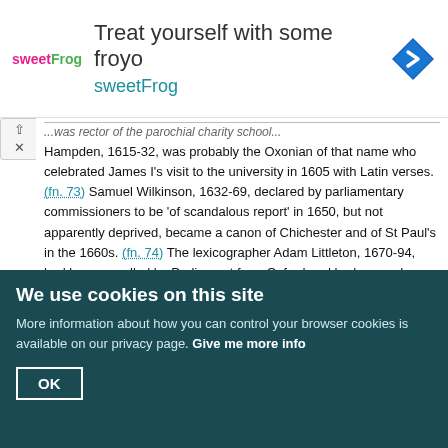[Figure (other): Advertisement banner for sweetFrog frozen yogurt: logo with pink 'sweet' and green 'Frog' text, headline 'Treat yourself with some froyo', brand name 'sweetFrog', and a blue navigation/map diamond icon on the right.]
Hampden, 1615-32, was probably the Oxonian of that name who celebrated James I's visit to the university in 1605 with Latin verses. (fn. 73) Samuel Wilkinson, 1632-69, declared by parliamentary commissioners to be 'of scandalous report' in 1650, but not apparently deprived, became a canon of Chichester and of St Paul's in the 1660s. (fn. 74) The lexicographer Adam Littleton, 1670-94, had been expelled by Parliament from Oxford and had opened a school in Chelsea; he was also a royal chaplain and canon of Westminster. (fn. 75) The miscellaneous writer John King, 1694-1732, left a much quoted manuscript account of Chelsea; (fn. 76) from 1697 to 1710 he also held the living of Harrold (Beds.) and from 1710 he was a canon of York. (fn. 77) Sloane Elsmere, 1732-66, was a benefactor of the girls' charity school. (fn. 78) Later rectors were often well connected. Reginald Heber, 1766-70, who
We use cookies on this site
More information about how you can control your browser cookies is available on our privacy page. Give me more info
OK